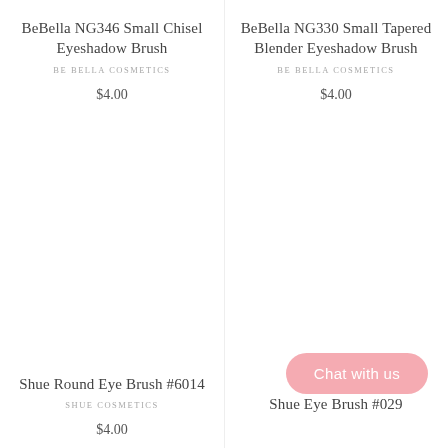BeBella NG346 Small Chisel Eyeshadow Brush
BE BELLA COSMETICS
$4.00
BeBella NG330 Small Tapered Blender Eyeshadow Brush
BE BELLA COSMETICS
$4.00
Shue Round Eye Brush #6014
SHUE COSMETICS
$4.00
Shue Eye Brush #029
Chat with us